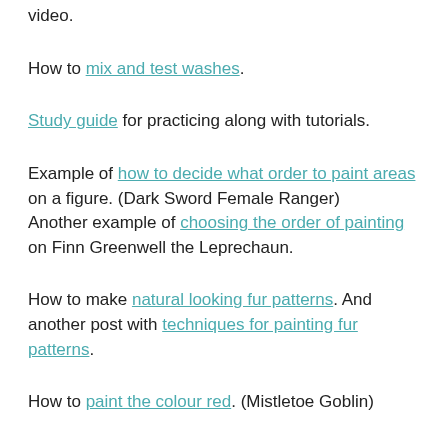video.
How to mix and test washes.
Study guide for practicing along with tutorials.
Example of how to decide what order to paint areas on a figure. (Dark Sword Female Ranger)
Another example of choosing the order of painting on Finn Greenwell the Leprechaun.
How to make natural looking fur patterns. And another post with techniques for painting fur patterns.
How to paint the colour red. (Mistletoe Goblin)
Step by step for painting a kangaroo.